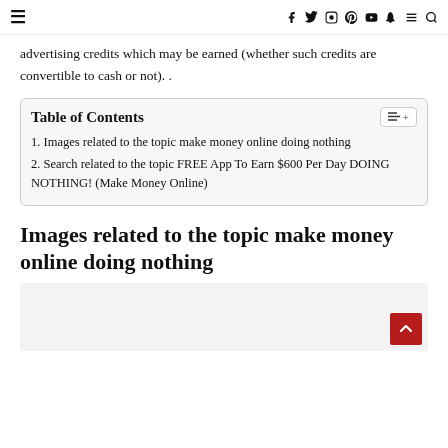≡  f  y  Instagram  Pinterest  YouTube  Snapchat  ≡  🔍
advertising credits which may be earned (whether such credits are convertible to cash or not). .
| Table of Contents |
| 1. Images related to the topic make money online doing nothing |
| 2. Search related to the topic FREE App To Earn $600 Per Day DOING NOTHING! (Make Money Online) |
Images related to the topic make money online doing nothing
[Figure (photo): Image placeholder area, light gray background with faint bottom text]